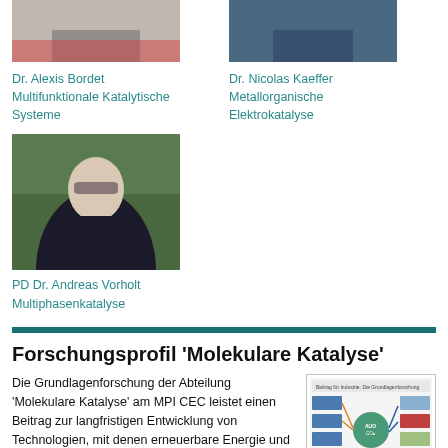[Figure (photo): Photo of Dr. Alexis Bordet, partial upper body, cropped]
[Figure (photo): Photo of Dr. Nicolas Kaeffer, partial upper body, cropped]
Dr. Alexis Bordet
Multifunktionale Katalytische Systeme
Dr. Nicolas Kaeffer
Metallorganische Elektrokatalyse
[Figure (photo): Photo of PD Dr. Andreas Vorholt, man with glasses in dark shirt outdoors]
PD Dr. Andreas Vorholt
Multiphasenkatalyse
Forschungsprofil 'Molekulare Katalyse'
Die Grundlagenforschung der Abteilung 'Molekulare Katalyse' am MPI CEC leistet einen Beitrag zur langfristigen Entwicklung von Technologien, mit denen erneuerbare Energie und Rohstoffe als Grundlage für die Herstellung
[Figure (infographic): Schema showing circular/connected diagram of molecular catalysis research areas]
Schema 1: Abteilung